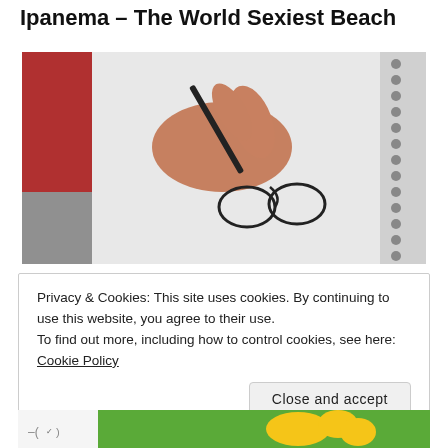Ipanema – The World Sexiest Beach
[Figure (photo): A hand holding a pen drawing two oval/loop shapes on a spiral-bound notebook page.]
Privacy & Cookies: This site uses cookies. By continuing to use this website, you agree to their use.
To find out more, including how to control cookies, see here: Cookie Policy
Close and accept
[Figure (photo): Bottom strip showing partial image with green background and yellow character.]